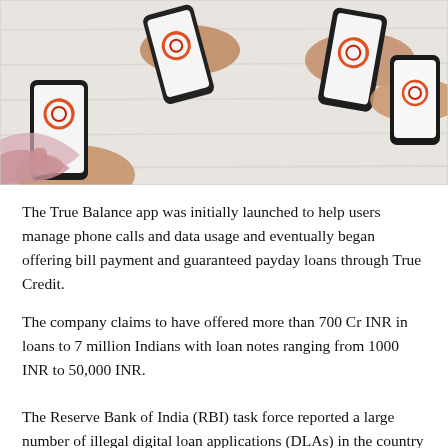[Figure (photo): Photograph of multiple hands holding smartphones displaying the True Balance app logo (a circular orange and red icon on white screen), viewed from above on a white wooden surface.]
The True Balance app was initially launched to help users manage phone calls and data usage and eventually began offering bill payment and guaranteed payday loans through True Credit.
The company claims to have offered more than 700 Cr INR in loans to 7 million Indians with loan notes ranging from 1000 INR to 50,000 INR.
The Reserve Bank of India (RBI) task force reported a large number of illegal digital loan applications (DLAs) in the country and made